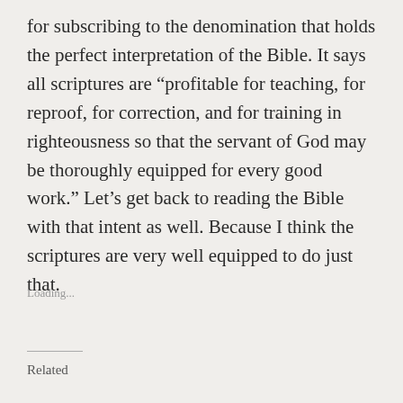for subscribing to the denomination that holds the perfect interpretation of the Bible. It says all scriptures are “profitable for teaching, for reproof, for correction, and for training in righteousness so that the servant of God may be thoroughly equipped for every good work.” Let’s get back to reading the Bible with that intent as well. Because I think the scriptures are very well equipped to do just that.
Loading...
Related